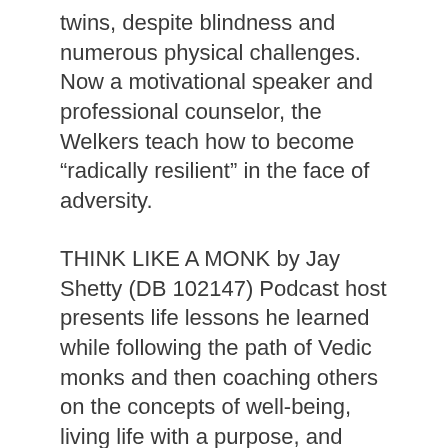twins, despite blindness and numerous physical challenges. Now a motivational speaker and professional counselor, the Welkers teach how to become “radically resilient” in the face of adversity.
THINK LIKE A MONK by Jay Shetty (DB 102147) Podcast host presents life lessons he learned while following the path of Vedic monks and then coaching others on the concepts of well-being, living life with a purpose, and mindfulness. Topics covered include overcoming negativity, learning from others, stopping overthinking, and the importance of kindness.
THE HAPPINESS PROJECT by Gretchen Rubin (BR 18710 and DB 70275) Author shares her personal reflections on a monthly plan to improve her quality of life by the